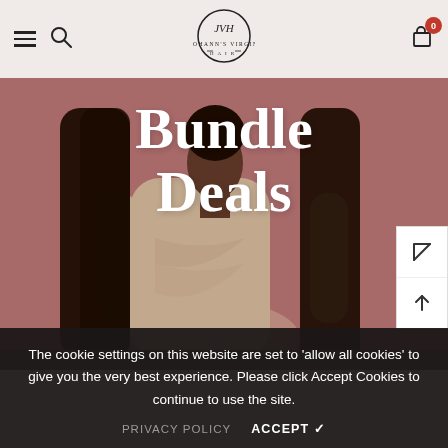Johann's Virgin Hair — navigation header with hamburger menu, search icon, JVH logo, and cart icon showing 0 items
Bundle Deals
[Figure (photo): A woman with long straight dark hair wearing a beige long-sleeve fitted top, posed against a mauve/dusty rose background. Large white text 'Bundle Deals' overlays the image.]
The cookie settings on this website are set to 'allow all cookies' to give you the very best experience. Please click Accept Cookies to continue to use the site.
PRIVACY POLICY   ACCEPT ✓